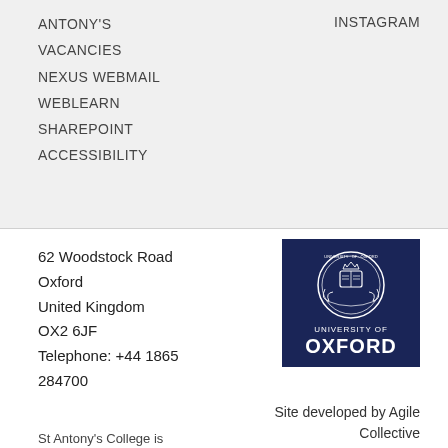ANTONY'S
VACANCIES
NEXUS WEBMAIL
WEBLEARN
SHAREPOINT
ACCESSIBILITY
INSTAGRAM
62 Woodstock Road
Oxford
United Kingdom
OX2 6JF
Telephone: +44 1865 284700
[Figure (logo): University of Oxford logo — dark navy blue square background with circular university seal in white at top and 'UNIVERSITY OF OXFORD' text in white below]
Site developed by Agile Collective
St Antony's College is...